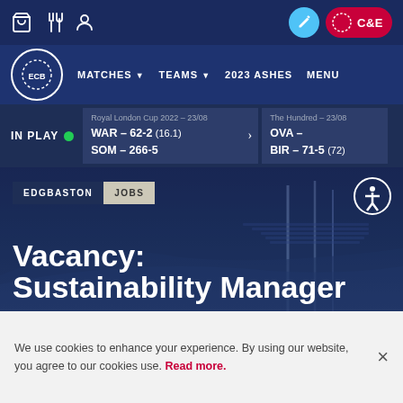Edgbaston Cricket website header with navigation icons, pencil button, and C&E user button
MATCHES ▼  TEAMS ▼  2023 ASHES  MENU
IN PLAY  Royal London Cup 2022 – 23/08  WAR – 62-2 (16.1)  SOM – 266-5  The Hundred – 23/08  OVA –  BIR – 71-5 (72)
[Figure (screenshot): Hero background image of cricket stadium at dusk with floodlights, overlaid with dark navy gradient]
EDGBASTON  JOBS
Vacancy: Sustainability Manager
We use cookies to enhance your experience. By using our website, you agree to our cookies use. Read more.